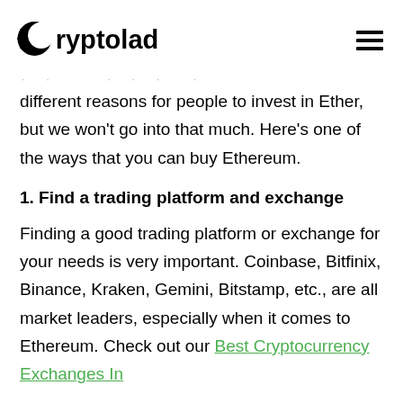Cryptolad
· · · · · · ·
different reasons for people to invest in Ether, but we won't go into that much. Here's one of the ways that you can buy Ethereum.
1. Find a trading platform and exchange
Finding a good trading platform or exchange for your needs is very important. Coinbase, Bitfinix, Binance, Kraken, Gemini, Bitstamp, etc., are all market leaders, especially when it comes to Ethereum. Check out our Best Cryptocurrency Exchanges In